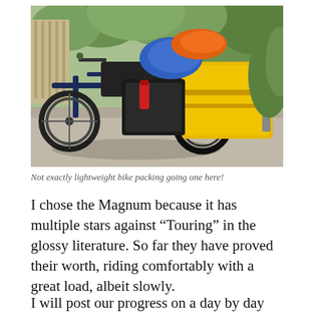[Figure (photo): A loaded recumbent tricycle (trike) heavily packed with yellow and blue panniers and bags, parked on a gravel path with green foliage in the background.]
Not exactly lightweight bike packing going one here!
I chose the Magnum because it has multiple stars against “Touring” in the glossy literature. So far they have proved their worth, riding comfortably with a great load, albeit slowly.
I will post our progress on a day by day basis